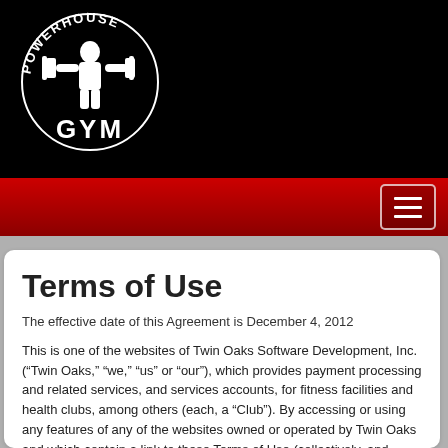[Figure (logo): Powerhouse Gym logo — circular text 'POWERHOUSE GYM' with a muscular figure holding weights, white on black background]
Terms of Use
The effective date of this Agreement is December 4, 2012
This is one of the websites of Twin Oaks Software Development, Inc. (“Twin Oaks,” “we,” “us” or “our”), which provides payment processing and related services, and services accounts, for fitness facilities and health clubs, among others (each, a “Club”). By accessing or using any features of any of the websites owned or operated by Twin Oaks and which contain a link to these Terms of Use (collectively, and together with all services available through